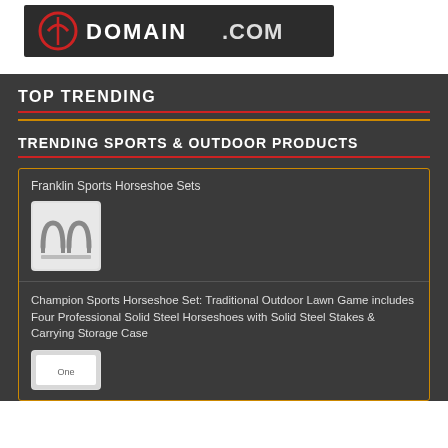[Figure (logo): Domain.com logo banner with red circular icon and white bold text DOMAIN.COM on dark background]
TOP TRENDING
TRENDING SPORTS & OUTDOOR PRODUCTS
Franklin Sports Horseshoe Sets
[Figure (photo): Product image showing two horseshoes side by side, grey/white background]
Champion Sports Horseshoe Set: Traditional Outdoor Lawn Game includes Four Professional Solid Steel Horseshoes with Solid Steel Stakes & Carrying Storage Case
[Figure (photo): Product image partially visible at bottom, dark background with white box]